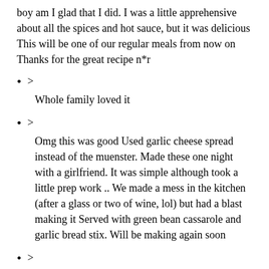boy am I glad that I did. I was a little apprehensive about all the spices and hot sauce, but it was delicious This will be one of our regular meals from now on Thanks for the great recipe n*r
> Whole family loved it
> Omg this was good Used garlic cheese spread instead of the muenster. Made these one night with a girlfriend. It was simple although took a little prep work .. We made a mess in the kitchen (after a glass or two of wine, lol) but had a blast making it Served with green bean cassarole and garlic bread stix. Will be making again soon
> This recipe is so good and full of flavor. I have made it as is and I also enjoy using smoked gouda instead of the muenster cheese. I usually cut a pocket in the chicken breast and secure with tooth picks. Thanks for such a yummy recipe.
>